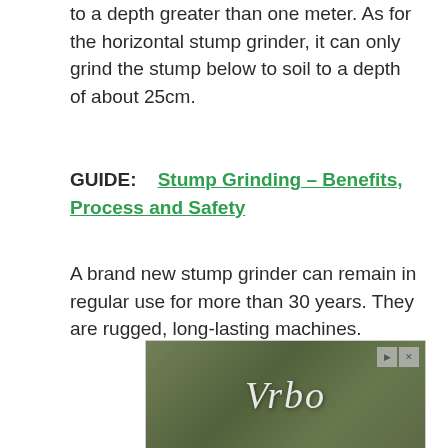to a depth greater than one meter. As for the horizontal stump grinder, it can only grind the stump below to soil to a depth of about 25cm.
GUIDE:   Stump Grinding – Benefits, Process and Safety
A brand new stump grinder can remain in regular use for more than 30 years. They are rugged, long-lasting machines.
[Figure (other): Advertisement banner for Vrbo showing a house exterior with green lawn, with Vrbo logo in italic white text and playback/close controls in top right corner.]